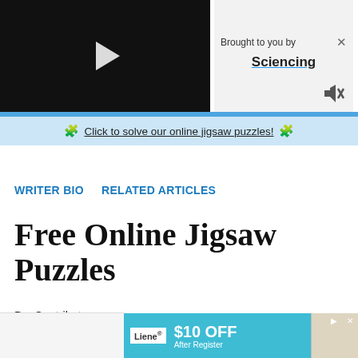[Figure (screenshot): Video player with black background and white play button triangle]
Brought to you by
Sciencing
✦ Click to solve our online jigsaw puzzles! ✦
WRITER BIO    RELATED ARTICLES
Free Online Jigsaw Puzzles
By: Contributor
Updated
[Figure (screenshot): Advertisement banner: Liene $10 OFF After Register with product image]